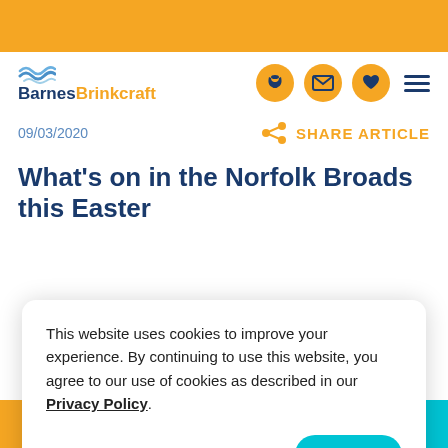[Figure (logo): BarnesBrinkcraft logo with wave graphic and company name]
09/03/2020
SHARE ARTICLE
What's on in the Norfolk Broads this Easter
This website uses cookies to improve your experience. By continuing to use this website, you agree to our use of cookies as described in our Privacy Policy.
Close
Find My Holiday   Contact Us